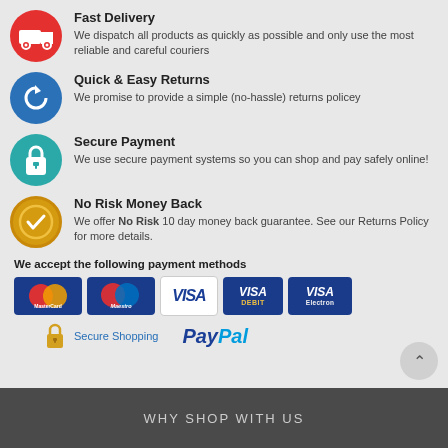Fast Delivery
We dispatch all products as quickly as possible and only use the most reliable and careful couriers
Quick & Easy Returns
We promise to provide a simple (no-hassle) returns policey
Secure Payment
We use secure payment systems so you can shop and pay safely online!
No Risk Money Back
We offer No Risk 10 day money back guarantee. See our Returns Policy for more details.
We accept the following payment methods
[Figure (infographic): Payment method logos: MasterCard, Maestro, VISA, VISA DEBIT, VISA Electron]
Secure Shopping   PayPal
WHY SHOP WITH US